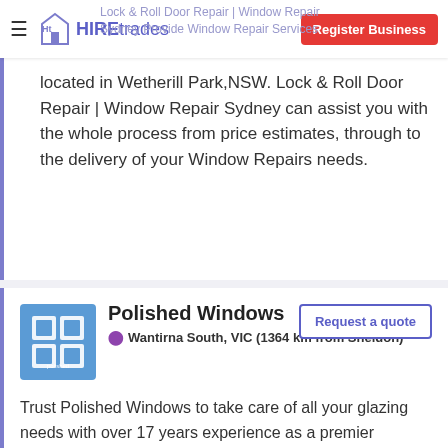Lock & Roll Door Repair | Window Repair | Register Business | HIREtrades | Sydney Provide Window Repairs Services
located in Wetherill Park,NSW. Lock & Roll Door Repair | Window Repair Sydney can assist you with the whole process from price estimates, through to the delivery of your Window Repairs needs.
Polished Windows
Wantirna South, VIC (1364 km from Sheldon)
Trust Polished Windows to take care of all your glazing needs with over 17 years experience as a premier residential and commercial provider. Our specialties include double glazed...